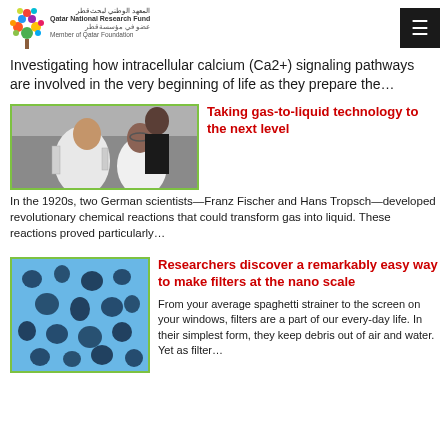Qatar National Research Fund — Member of Qatar Foundation
Investigating how intracellular calcium (Ca2+) signaling pathways are involved in the very beginning of life as they prepare the…
[Figure (photo): Two researchers in white lab coats working with laboratory equipment; a woman wearing safety goggles and a man speaking.]
Taking gas-to-liquid technology to the next level
In the 1920s, two German scientists—Franz Fischer and Hans Tropsch—developed revolutionary chemical reactions that could transform gas into liquid. These reactions proved particularly…
[Figure (photo): Close-up electron microscope image of a porous nano-filter material with a blue sponge-like structure.]
Researchers discover a remarkably easy way to make filters at the nano scale
From your average spaghetti strainer to the screen on your windows, filters are a part of our every-day life. In their simplest form, they keep debris out of air and water. Yet as filter…